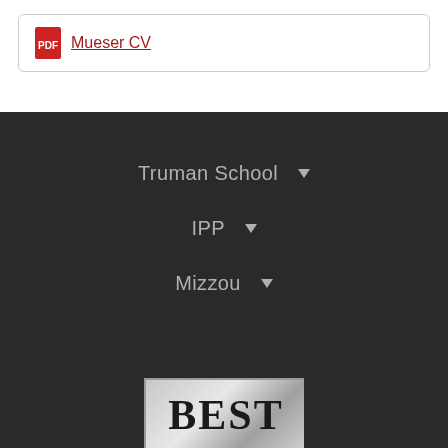Mueser CV
Truman School ▾
IPP ▾
Mizzou ▾
[Figure (logo): BEST badge/logo partially visible at bottom of dark section]